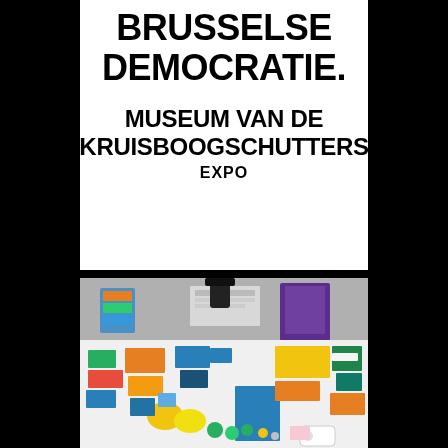BRUSSELSE DEMOCRATIE.
MUSEUM VAN DE KRUISBOOGSCHUTTERS EXPO
[Figure (photo): Photograph of colorful design materials and cards scattered on a white table surface, including blue, green, yellow, orange, and red rectangular cards, yellow circular discs, and various other colored objects.]